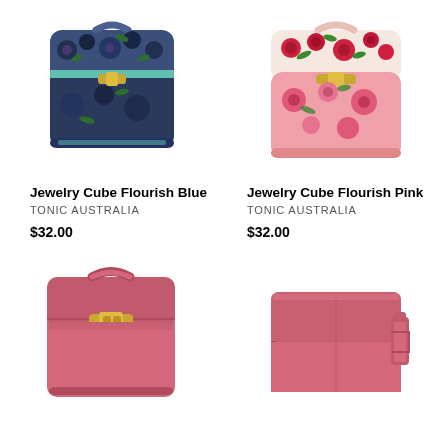[Figure (photo): Jewelry cube cosmetic case in dark blue/navy floral pattern with gold zipper hardware]
[Figure (photo): Jewelry cube cosmetic case in pink floral pattern with gold zipper hardware]
Jewelry Cube Flourish Blue
TONIC AUSTRALIA
$32.00
Jewelry Cube Flourish Pink
TONIC AUSTRALIA
$32.00
[Figure (photo): Pink velvet jewelry cube case with gold zipper hardware]
[Figure (photo): Pink velvet fold-out jewelry roll/clutch organizer]